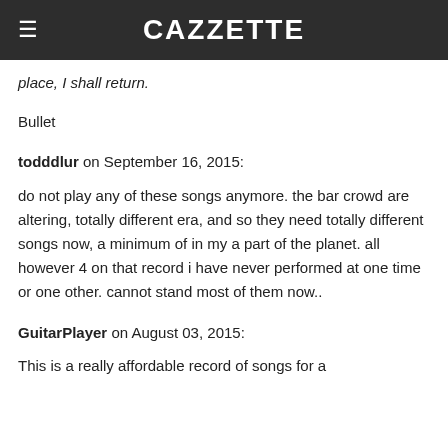CAZZETTE
place, I shall return.
Bullet
todddlur on September 16, 2015:
do not play any of these songs anymore. the bar crowd are altering, totally different era, and so they need totally different songs now, a minimum of in my a part of the planet. all however 4 on that record i have never performed at one time or one other. cannot stand most of them now..
GuitarPlayer on August 03, 2015:
This is a really affordable record of songs for a